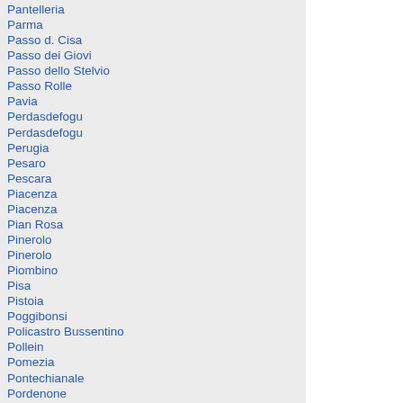Pantelleria
Parma
Passo d. Cisa
Passo dei Giovi
Passo dello Stelvio
Passo Rolle
Pavia
Perdasdefogu
Perdasdefogu
Perugia
Pesaro
Pescara
Piacenza
Piacenza
Pian Rosa
Pinerolo
Pinerolo
Piombino
Pisa
Pistoia
Poggibonsi
Policastro Bussentino
Pollein
Pomezia
Pontechianale
Pordenone
Portici
Porto Azzurro
Portoferraio
Porto Puddu
Porto Torres
Porto Torres